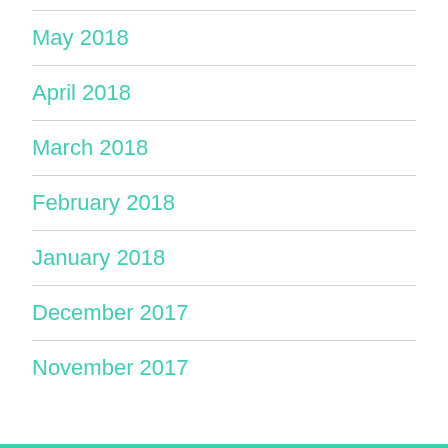May 2018
April 2018
March 2018
February 2018
January 2018
December 2017
November 2017